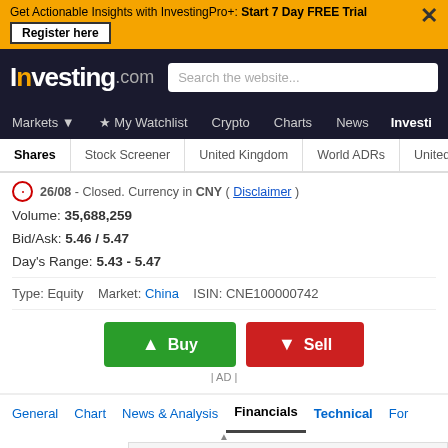Get Actionable Insights with InvestingPro+: Start 7 Day FREE Trial | Register here
[Figure (screenshot): Investing.com logo and search bar navigation]
Markets | My Watchlist | Crypto | Charts | News | Investi
Shares | Stock Screener | United Kingdom | World ADRs | United Kingdom
26/08 - Closed. Currency in CNY ( Disclaimer )
Volume: 35,688,259
Bid/Ask: 5.46 / 5.47
Day's Range: 5.43 - 5.47
Type: Equity   Market: China   ISIN: CNE100000742
[Figure (other): Buy and Sell buttons with AD label]
General | Chart | News & Analysis | Financials | Technical | For
Financial Summa
601939 Comments